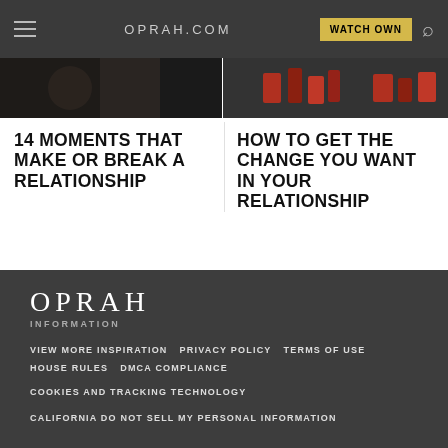OPRAH.COM  WATCH OWN
[Figure (photo): Dark thumbnail image on the left side showing article preview]
[Figure (photo): Dark thumbnail image on the right side showing article preview with decorative red icons]
14 MOMENTS THAT MAKE OR BREAK A RELATIONSHIP
HOW TO GET THE CHANGE YOU WANT IN YOUR RELATIONSHIP
OPRAH INFORMATION VIEW MORE INSPIRATION  PRIVACY POLICY  TERMS OF USE  HOUSE RULES  DMCA COMPLIANCE  COOKIES AND TRACKING TECHNOLOGY  CALIFORNIA DO NOT SELL MY PERSONAL INFORMATION